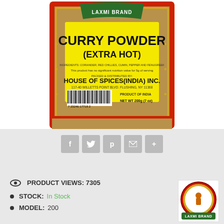[Figure (photo): Laxmi Brand Curry Powder (Extra Hot) 200g (7oz) package by House of Spices (India) Inc., Flushing NY 11368. Yellow label with barcode 7 23246 17718 2. Ingredients: coriander, red chillies, cumin, pepper and fenugreek. Product of India.]
[Figure (infographic): Social share buttons: Facebook (f), Twitter (bird), Pinterest (p), Email (envelope), More (+)]
PRODUCT VIEWS: 7305
STOCK: In Stock
MODEL: 200
[Figure (logo): Laxmi Brand circular logo with red border and figure in center]